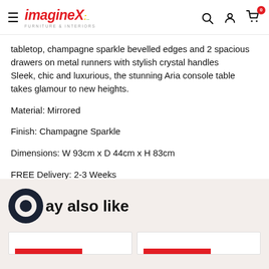imagineX FURNITURE & INTERIORS
tabletop, champagne sparkle bevelled edges and 2 spacious drawers on metal runners with stylish crystal handles
Sleek, chic and luxurious, the stunning Aria console table takes glamour to new heights.
Material: Mirrored
Finish: Champagne Sparkle
Dimensions: W 93cm x D 44cm x H 83cm
FREE Delivery: 2-3 Weeks
You may also like